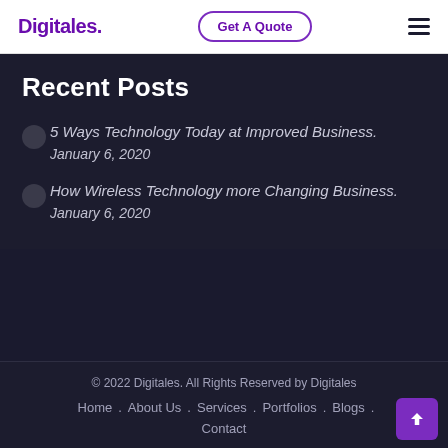Digitales. | Get A Quote | ≡
Recent Posts
5 Ways Technology Today at Improved Business.
January 6, 2020
How Wireless Technology more Changing Business.
January 6, 2020
© 2022 Digitales. All Rights Reserved by Digitales
Home . About Us . Services . Portfolios . Blogs . Contact